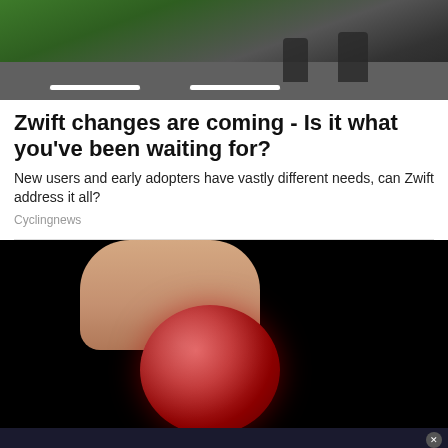[Figure (photo): Top portion of photo showing bicycles parked on a road with green grass in background]
Zwift changes are coming - Is it what you've been waiting for?
New users and early adopters have vastly different needs, can Zwift address it all?
Cyclingnews
[Figure (photo): Close-up photo of fingers holding a red sugary gummy candy against dark background]
[Figure (other): WynnBET Sportsbook advertisement banner with fine print terms and conditions and BET NOW button]